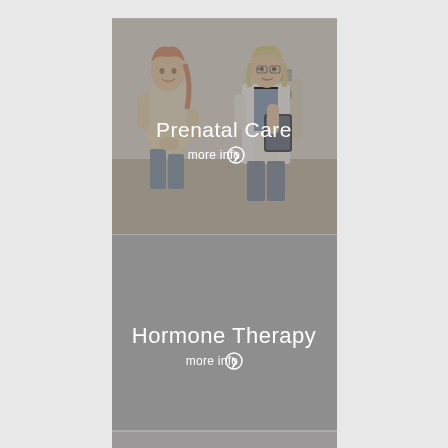[Figure (photo): Prenatal care section: Photo of a pregnant woman standing with a doctor in a white coat holding a tablet, in a medical office setting. Gray overlay. Text overlay reads 'Prenatal Care' and 'more info' with a circular arrow icon.]
[Figure (photo): Hormone Therapy section: Solid gray background panel with text 'Hormone Therapy' and 'more info' with a circular arrow icon.]